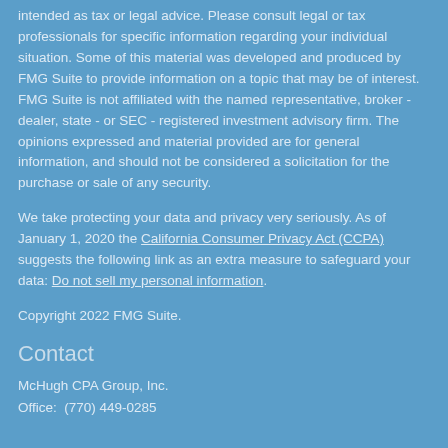intended as tax or legal advice. Please consult legal or tax professionals for specific information regarding your individual situation. Some of this material was developed and produced by FMG Suite to provide information on a topic that may be of interest. FMG Suite is not affiliated with the named representative, broker - dealer, state - or SEC - registered investment advisory firm. The opinions expressed and material provided are for general information, and should not be considered a solicitation for the purchase or sale of any security.
We take protecting your data and privacy very seriously. As of January 1, 2020 the California Consumer Privacy Act (CCPA) suggests the following link as an extra measure to safeguard your data: Do not sell my personal information.
Copyright 2022 FMG Suite.
Contact
McHugh CPA Group, Inc.
Office:  (770) 449-0285